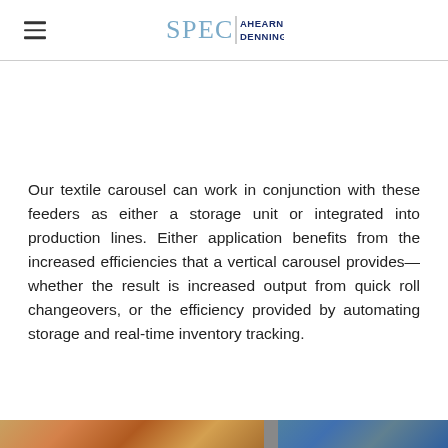SPEC | AHEARN DENNING
Our textile carousel can work in conjunction with these feeders as either a storage unit or integrated into production lines. Either application benefits from the increased efficiencies that a vertical carousel provides—whether the result is increased output from quick roll changeovers, or the efficiency provided by automating storage and real-time inventory tracking.
[Figure (photo): Bottom strip showing partial photos of textile/fabric rolls and equipment]